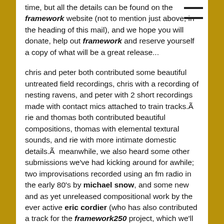time, but all the details can be found on the framework website (not to mention just above, in the heading of this mail), and we hope you will donate, help out framework and reserve yourself a copy of what will be a great release...
chris and peter both contributed some beautiful untreated field recordings, chris with a recording of nesting ravens, and peter with 2 short recordings made with contact mics attached to train tracks.Ã  rie and thomas both contributed beautiful compositions, thomas with elemental textural sounds, and rie with more intimate domestic details.Ã  meanwhile, we also heard some other submissions we've had kicking around for awhile; two improvisations recorded using an fm radio in the early 80's by michael snow, and some new and as yet unreleased compositional work by the ever active eric cordier (who has also contributed a track for the framework250 project, which we'll be coming to in an upcoming show).
finally, i should announce that framework once again has a new address Ã  framework hq will be relocating from the